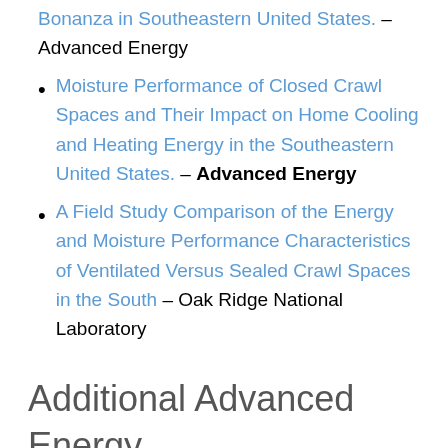Bonanza in Southeastern United States. – Advanced Energy
Moisture Performance of Closed Crawl Spaces and Their Impact on Home Cooling and Heating Energy in the Southeastern United States. – Advanced Energy
A Field Study Comparison of the Energy and Moisture Performance Characteristics of Ventilated Versus Sealed Crawl Spaces in the South – Oak Ridge National Laboratory
Additional Advanced Energy